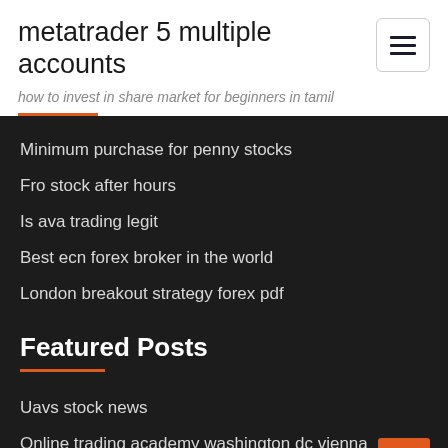metatrader 5 multiple accounts
how to invest in share market for beginners in tamil
Minimum purchase for penny stocks
Fro stock after hours
Is ava trading legit
Best ecn forex broker in the world
London breakout strategy forex pdf
Featured Posts
Uavs stock news
Online trading academy washington dc vienna